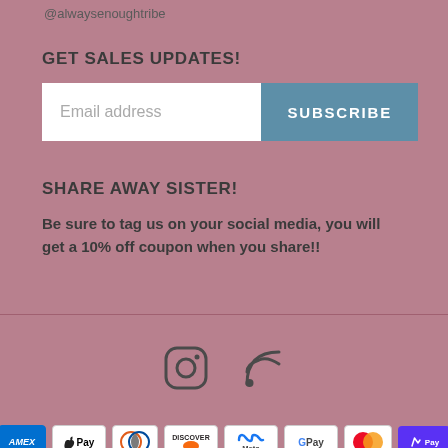@alwaysenoughtribe
GET SALES UPDATES!
Email address
SHARE AWAY SISTER!
Be sure to tag us on your social media, you will get a 10% off coupon when you share!!
[Figure (other): Instagram and RSS feed social media icons]
[Figure (other): Payment method badges: AMEX, Apple Pay, Diners Club, Discover, Meta Pay, Google Pay, Mastercard, ShopPay]